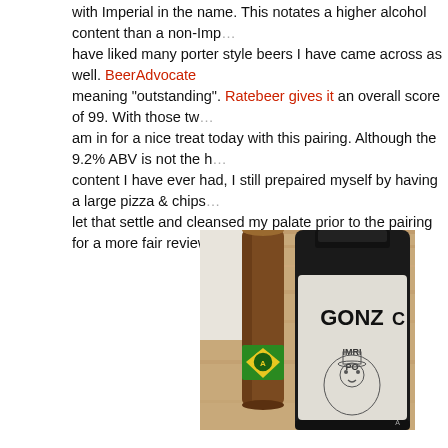with Imperial in the name. This notates a higher alcohol content than a non-Imperial. I have liked many porter style beers I have came across as well. BeerAdvocate gives it a score of meaning "outstanding". Ratebeer gives it an overall score of 99. With those two scores alone I am in for a nice treat today with this pairing. Although the 9.2% ABV is not the highest alcohol content I have ever had, I still prepaired myself by having a large pizza & chips beforehand, let that settle and cleansed my palate prior to the pairing for a more fair review.
[Figure (photo): A brown cigar stood upright next to a dark bottle of Gonzo Imperial Porter beer, placed on a wooden surface.]